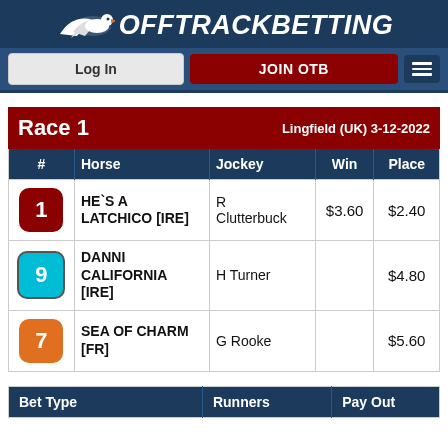OffTrackBetting
Log In | JOIN OTB
| Race 1 | Lingfield (UK) 3-12-2022 |  |  |  |
| --- | --- | --- | --- | --- |
| # | Horse | Jockey | Win | Place |
| 1 | HE`S A LATCHICO [IRE] | R Clutterbuck | $3.60 | $2.40 |
| 9 | DANNI CALIFORNIA [IRE] | H Turner |  | $4.80 |
| 7 | SEA OF CHARM [FR] | G Rooke |  | $5.60 |
| Bet Type | Runners | Pay Out |
| --- | --- | --- |